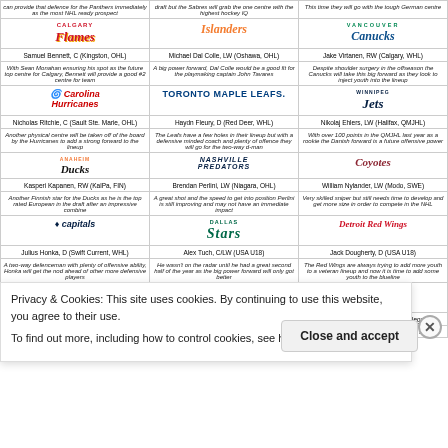| Team/Player/Description | Team/Player/Description | Team/Player/Description |
| --- | --- | --- |
| can provide that defence for the Panthers immediately as the most NHL ready prospect | draft but the Sabres will grab the one centre with the highest hockey IQ | This time they will go with the tough German centre |
| CALGARY FLAMES | Islanders | VANCOUVER CANUCKS |
| Samuel Bennett, C (Kingston, OHL) | Michael Dal Colle, LW (Oshawa, OHL) | Jake Virtanen, RW (Calgary, WHL) |
| With Sean Monahan ensuring his spot as the future top centre for Calgary, Bennett will provide a good #2 centre for team | A big power forward, Dal Colle would be a good fit for the playmaking captain John Tavares | Despite shoulder surgery in the offseason the Canucks will take this big forward as they look to inject youth into the lineup |
| CAROLINA HURRICANES | TORONTO MAPLE LEAFS. | Winnipeg Jets |
| Nicholas Ritchie, C (Sault Ste. Marie, OHL) | Haydn Fleury, D (Red Deer, WHL) | Nikolaj Ehlers, LW (Halifax, QMJHL) |
| Another physical centre will be taken off of the board by the Hurricanes to add a strong forward to the lineup | The Leafs have a few holes in their lineup but with a defensive minded coach and plenty of offence they will go for the two-way d-man | With over 100 points in the QMJHL last year as a rookie the Danish forward is a future offensive power |
| ANAHEIM DUCKS | NASHVILLE PREDATORS | Coyotes |
| Kasperi Kapanen, RW (KalPa, FIN) | Brendan Perlini, LW (Niagara, OHL) | William Nylander, LW (Modo, SWE) |
| Another Finnish star for the Ducks as he is the top rated European in the draft after an impressive combine | A great shot and the speed to get into position Perlini is still improving and may not have an immediate impact | Very skilled sniper but still needs time to develop and get more size in order to compete in the NHL |
| capitals | DALLAS STARS | Detroit Red Wings |
| Julius Honka, D (Swift Current, WHL) | Alex Tuch, C/LW (USA U18) | Jack Dougherty, D (USA U18) |
| A two-way defenceman with plenty of offensive ability, Honka will get the nod ahead of other more defensive players | He wasn't on the radar until he had a great second half of the year as the big power forward will only got better | The Red Wings are always trying to add more youth to a veteran lineup and now it is time to add some youth to the blueline |
| COLUMBUS BLUE JACKETS | FLYERS | MINNESOTA WILD |
| Roland Mckeown, D (Kingston, OHL) | Sonny Milano, LW (USA U18) | Thatcher Demko, G (Boston College) |
| One of the prospects who works with Gary | He won't be in the NHL soon as he heads to | He is the best goalie in the draft and at |
Privacy & Cookies: This site uses cookies. By continuing to use this website, you agree to their use.
To find out more, including how to control cookies, see here: Cookie Policy
Close and accept